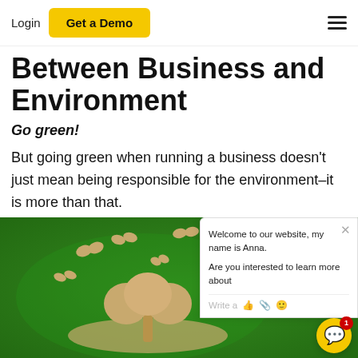Login | Get a Demo
Between Business and Environment
Go green!
But going green when running a business doesn't just mean being responsible for the environment–it is more than that.
[Figure (photo): Photo of green grass with cardboard cutout trees and butterflies, with a live chat widget overlay showing 'Welcome to our website, my name is Anna. Are you interested to learn more about' and a text input row with icons.]